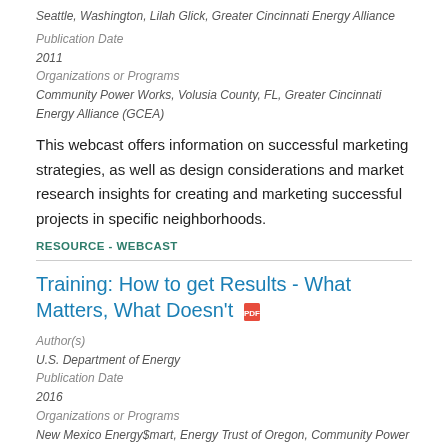Seattle, Washington, Lilah Glick, Greater Cincinnati Energy Alliance
Publication Date
2011
Organizations or Programs
Community Power Works, Volusia County, FL, Greater Cincinnati Energy Alliance (GCEA)
This webcast offers information on successful marketing strategies, as well as design considerations and market research insights for creating and marketing successful projects in specific neighborhoods.
RESOURCE - WEBCAST
Training: How to get Results - What Matters, What Doesn't
Author(s)
U.S. Department of Energy
Publication Date
2016
Organizations or Programs
New Mexico Energy$mart, Energy Trust of Oregon, Community Power Works